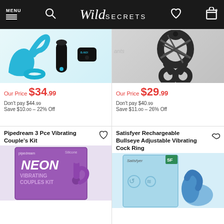Wild Secrets – Menu, Search, Wishlist, Cart (0)
Our Price $34.99
Don't pay $44.99
Save $10.00 – 22% Off
Our Price $29.99
Don't pay $40.99
Save $11.00 – 26% Off
Pipedream 3 Pce Vibrating Couple's Kit
[Figure (photo): Blue vibrating couple's kit with prostate massager, bullet vibrator, and remote control]
[Figure (photo): Satisfyer black rechargeable adjustable vibrating cock ring with connected rings]
[Figure (photo): Pipedream Neon Vibrating Couples Kit product box with purple toys]
[Figure (photo): Satisfyer Rechargeable Bullseye product box in light blue]
Satisfyer Rechargeable Bullseye Adjustable Vibrating Cock Ring